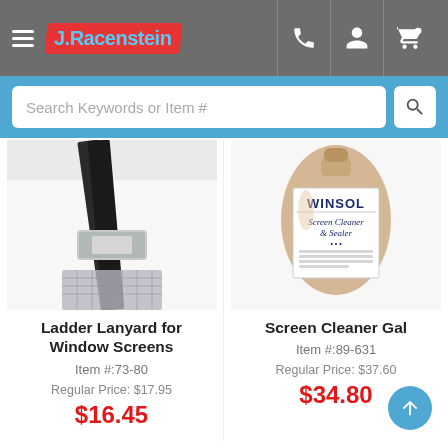[Figure (screenshot): J. Racenstein e-commerce website screenshot showing navigation bar with hamburger menu, logo, phone/account/cart icons, search bar, and two product listings: Ladder Lanyard for Window Screens and Screen Cleaner Gal]
Search Keywords or Item #
[Figure (photo): Close-up photo of a ladder lanyard buckle/clip for window screens on a white surface]
Ladder Lanyard for Window Screens
Item #:73-80
Regular Price: $17.95
$16.45
[Figure (photo): Photo of a large gallon jug of WINSOL Screen Cleaner & Sealer product]
Screen Cleaner Gal
Item #:89-631
Regular Price: $37.60
$34.80